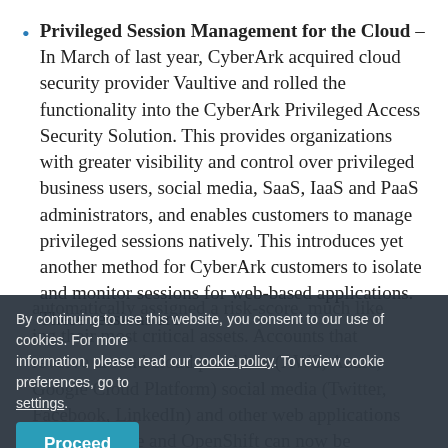Privileged Session Management for the Cloud – In March of last year, CyberArk acquired cloud security provider Vaultive and rolled the functionality into the CyberArk Privileged Access Security Solution. This provides organizations with greater visibility and control over privileged business users, social media, SaaS, IaaS and PaaS administrators, and enables customers to manage privileged sessions natively. This introduces yet another method for CyberArk customers to isolate and monitor sessions for web-based applications. These sessions are automatically assigned a risk-score, much like [obscured by cookie banner] ing their most critical assets. Accounts that revolve around cloud providers (AWS, Azure, Google Cloud Platform) social media (Twitter, Facebook, LinkedIn) and other web applications like Salesforce and OpenShift can now be [continues]
By continuing to use this website, you consent to our use of cookies. For more information, please read our cookie policy. To review cookie preferences, go to settings.